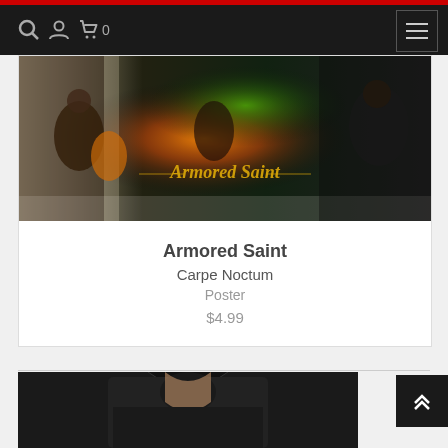Navigation bar with search, account, cart (0), and hamburger menu icons
[Figure (photo): Armored Saint - Carpe Noctum band poster featuring multiple band members performing on stage with dramatic lighting and the Armored Saint logo in gold gothic lettering]
Armored Saint
Carpe Noctum
Poster
$4.99
[Figure (photo): Partial view of a black t-shirt worn by a person, showing collar and upper chest area on dark background]